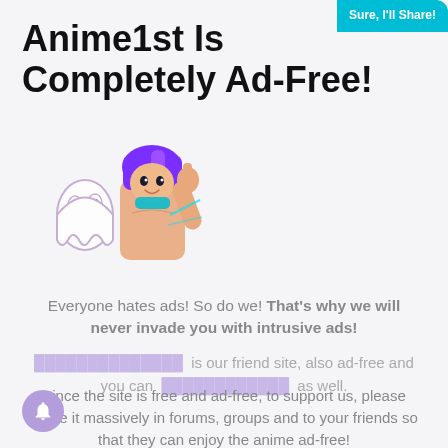Anime1st Is Completely Ad-Free!
Sure, I'll Share!
[Figure (illustration): Anime character with purple hair giving thumbs up, with a ghost-like creature beside them]
Everyone hates ads! So do we! That's why we will never invade you with intrusive ads!
is our friend site, also ad-free and you can as well.
Since the site is free and ad-free, to support us, please share it massively in forums, groups and to your friends so that they can enjoy the anime ad-free!